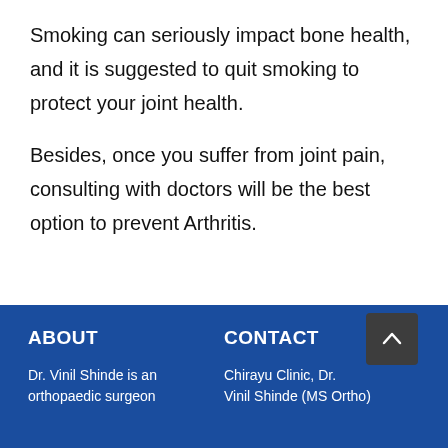Smoking can seriously impact bone health, and it is suggested to quit smoking to protect your joint health.
Besides, once you suffer from joint pain, consulting with doctors will be the best option to prevent Arthritis.
ABOUT | Dr. Vinil Shinde is an orthopaedic surgeon | CONTACT | Chirayu Clinic, Dr. Vinil Shinde (MS Ortho)